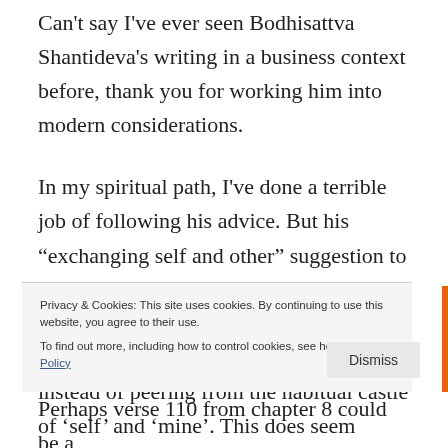Can't say I've ever seen Bodhisattva Shantideva's writing in a business context before, thank you for working him into modern considerations.
In my spiritual path, I've done a terrible job of following his advice. But his “exchanging self and other” suggestion to me means to always think of the welfare of others and try to see the world from the viewpoint of others as much as one can, instead of peering from the habitual castle of ‘self’ and ‘mine’. This does seem really in line with the
Privacy & Cookies: This site uses cookies. By continuing to use this website, you agree to their use.
To find out more, including how to control cookies, see here: Privacy Policy
Perhaps verse 110 from chapter 8 could be a